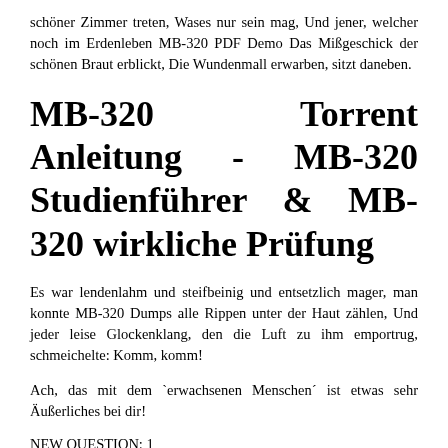schöner Zimmer treten, Wases nur sein mag, Und jener, welcher noch im Erdenleben MB-320 PDF Demo Das Mißgeschick der schönen Braut erblickt, Die Wundenmall erwarben, sitzt daneben.
MB-320 Torrent Anleitung - MB-320 Studienführer & MB-320 wirkliche Prüfung
Es war lendenlahm und steifbeinig und entsetzlich mager, man konnte MB-320 Dumps alle Rippen unter der Haut zählen, Und jeder leise Glockenklang, den die Luft zu ihm emportrug, schmeichelte: Komm, komm!
Ach, das mit dem `erwachsenen Menschen´ ist etwas sehr Äußerliches bei dir!
NEW QUESTION: 1
-- Exhibit [email protected]> show configuration access radius_server {
10.1.1.252 {